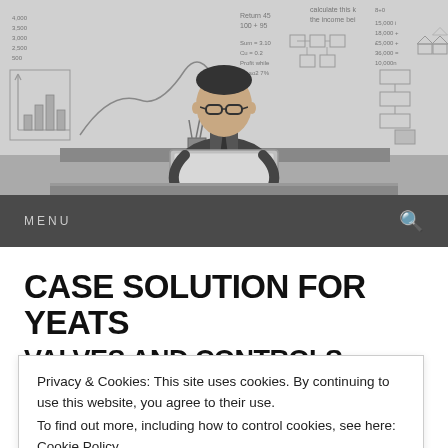[Figure (photo): Black and white photo of a man in glasses sitting at a desk with a laptop, in front of a whiteboard covered in mathematical equations, charts, and diagrams.]
MENU
CASE SOLUTION FOR YEATS
VALVES AND CONTROLS
Privacy & Cookies: This site uses cookies. By continuing to use this website, you agree to their use.
To find out more, including how to control cookies, see here: Cookie Policy
Close and accept